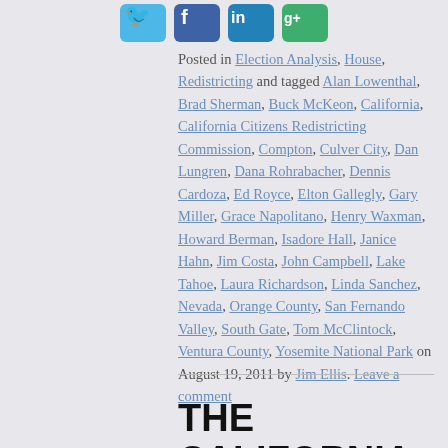[Figure (other): Social media sharing icons: Twitter (blue bird), Facebook (blue f), LinkedIn (blue in), Google+ (green g+)]
Posted in Election Analysis, House, Redistricting and tagged Alan Lowenthal, Brad Sherman, Buck McKeon, California, California Citizens Redistricting Commission, Compton, Culver City, Dan Lungren, Dana Rohrabacher, Dennis Cardoza, Ed Royce, Elton Gallegly, Gary Miller, Grace Napolitano, Henry Waxman, Howard Berman, Isadore Hall, Janice Hahn, Jim Costa, John Campbell, Lake Tahoe, Laura Richardson, Linda Sanchez, Nevada, Orange County, San Fernando Valley, South Gate, Tom McClintock, Ventura County, Yosemite National Park on August 19, 2011 by Jim Ellis. Leave a comment
THE CALIFORNIA